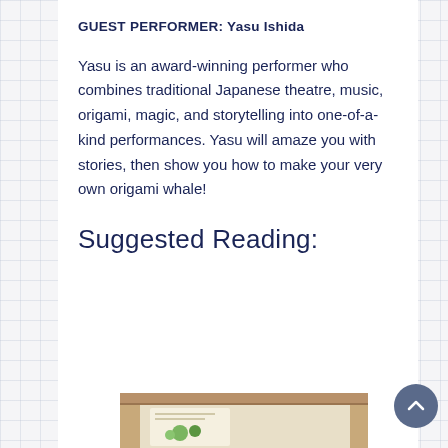GUEST PERFORMER: Yasu Ishida
Yasu is an award-winning performer who combines traditional Japanese theatre, music, origami, magic, and storytelling into one-of-a-kind performances. Yasu will amaze you with stories, then show you how to make your very own origami whale!
Suggested Reading:
[Figure (illustration): Partial view of a book illustration on a wooden shelf — illustrated book cover visible at bottom of page]